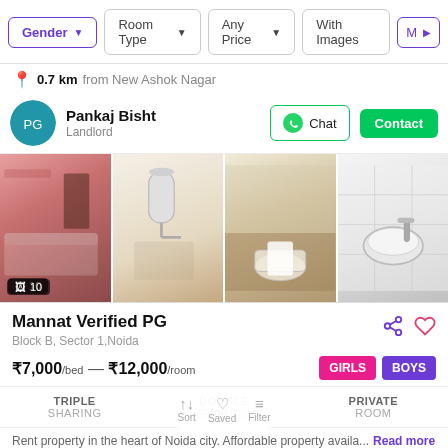Gender | Room Type | Any Price | With Images | More
0.7 km from New Ashok Nagar
Pankaj Bisht - Landlord - Chat - Contact
[Figure (photo): Four property photos: bedroom with pink walls, geyser on wall, toilet/bathroom, and wash basin]
📷 10
Mannat Verified PG
Block B, Sector 1,Noida
₹7,000/bed — ₹12,000/room  GIRLS  BOYS
TRIPLE SHARING  DOUBLE SHARING  PRIVATE ROOM
Rent property in the heart of Noida city. Affordable property availa...  Read more